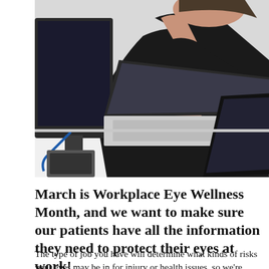[Figure (photo): A woman in a black blazer sitting at a desk, working at a laptop and computer monitor, with a tablet nearby. Office setting with white desk.]
March is Workplace Eye Wellness Month, and we want to make sure our patients have all the information they need to protect their eyes at work!
The type of job you have will determine what kinds of risks your eyes may be in for injury or health issues, so we're going to break them up into two main categories: